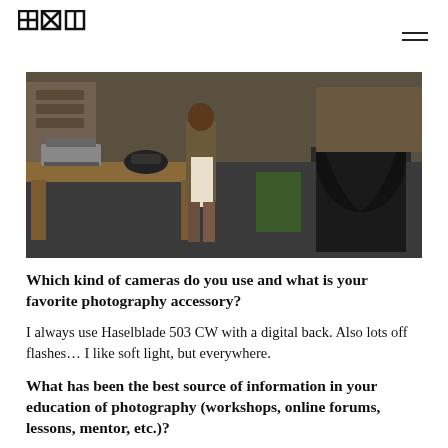[Logo icons] [Hamburger menu]
[Figure (photo): An indoor scene with people standing near wooden desks and office furniture. There is a vintage typewriter and rotary phone on a desk on the left. A person in a white apron is visible in the center, and a large black trash bag on a wheeled cart is on the right. The setting appears to be a retro-style office or workplace.]
Which kind of cameras do you use and what is your favorite photography accessory?
I always use Haselblade 503 CW with a digital back. Also lots off flashes… I like soft light, but everywhere.
What has been the best source of information in your education of photography (workshops, online forums, lessons, mentor, etc.)?
A very good french school called Gobelins in Paris. I